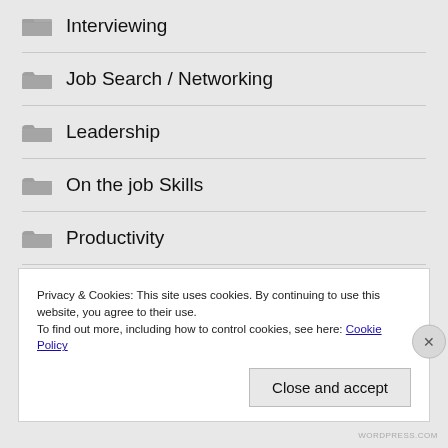Interviewing
Job Search / Networking
Leadership
On the job Skills
Productivity
Relationships
Resumes
Privacy & Cookies: This site uses cookies. By continuing to use this website, you agree to their use. To find out more, including how to control cookies, see here: Cookie Policy